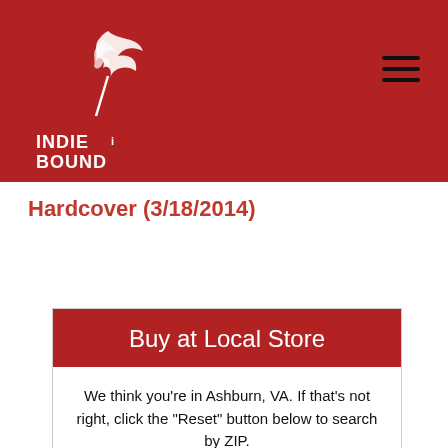[Figure (logo): IndieBound logo with stylized feather/bird graphic and text INDIE BOUND on dark red header background]
Hardcover (3/18/2014)
Buy at Local Store
We think you're in Ashburn, VA. If that's not right, click the "Reset" button below to search by ZIP.
Bespoke Books and Archives
IndieBound.Org Uses Cookies To Enhance Your Experience On Our Site, Analyze Site Usage, And Assist In Our Marketing Efforts. By Clicking Accept, You Agree To The Storing Of Cookies On Your Device. View Our Cookie Policy.
Give me more info